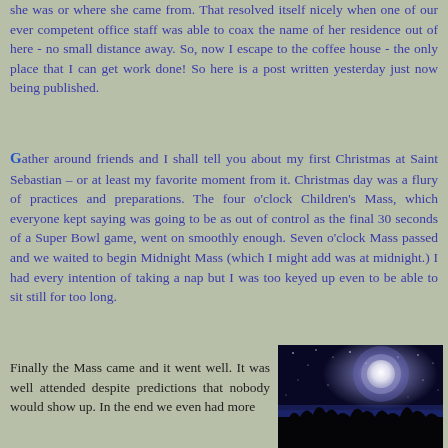she was or where she came from. That resolved itself nicely when one of our ever competent office staff was able to coax the name of her residence out of here - no small distance away. So, now I escape to the coffee house - the only place that I can get work done! So here is a post written yesterday just now being published.
Gather around friends and I shall tell you about my first Christmas at Saint Sebastian – or at least my favorite moment from it. Christmas day was a flury of practices and preparations. The four o'clock Children's Mass, which everyone kept saying was going to be as out of control as the final 30 seconds of a Super Bowl game, went on smoothly enough. Seven o'clock Mass passed and we waited to begin Midnight Mass (which I might add was at midnight.) I had every intention of taking a nap but I was too keyed up even to be able to sit still for too long.
Finally the Mass came and it went well. It was well attended despite predictions that nobody would show up. In the end we even had more
[Figure (photo): Night sky photo showing a bright full moon against a dark blue/black starry sky with silhouettes of trees at the bottom]